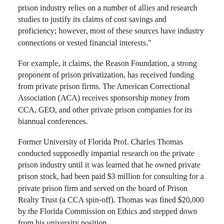prison industry relies on a number of allies and research studies to justify its claims of cost savings and proficiency; however, most of these sources have industry connections or vested financial interests."
For example, it claims, the Reason Foundation, a strong proponent of prison privatization, has received funding from private prison firms. The American Correctional Association (ACA) receives sponsorship money from CCA, GEO, and other private prison companies for its biannual conferences.
Former University of Florida Prof. Charles Thomas conducted supposedly impartial research on the private prison industry until it was learned that he owned private prison stock, had been paid $3 million for consulting for a private prison firm and served on the board of Prison Realty Trust (a CCA spin-off). Thomas was fined $20,000 by the Florida Commission on Ethics and stepped down from his university position.
Private prisons are paid according to filled beds. So, they are constantly pushing for more inmates - while officials of publicly owned prisons are trying to shed prisoners to relieve overcrowding and reduce expenses.
Private prisons seek to save money by hiring less experienced staff. The result of that policy can be seen in the disproportionate numbers of poorly